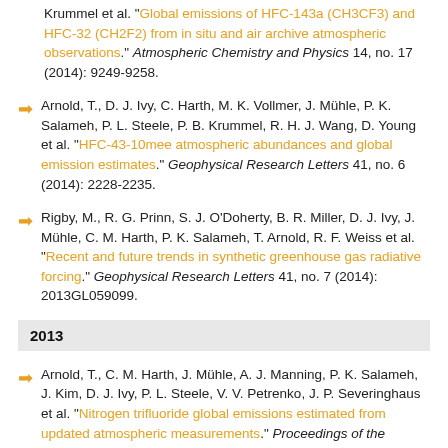Krummel et al. "Global emissions of HFC-143a (CH3CF3) and HFC-32 (CH2F2) from in situ and air archive atmospheric observations." Atmospheric Chemistry and Physics 14, no. 17 (2014): 9249-9258.
Arnold, T., D. J. Ivy, C. Harth, M. K. Vollmer, J. Mühle, P. K. Salameh, P. L. Steele, P. B. Krummel, R. H. J. Wang, D. Young et al. "HFC-43-10mee atmospheric abundances and global emission estimates." Geophysical Research Letters 41, no. 6 (2014): 2228-2235.
Rigby, M., R. G. Prinn, S. J. O'Doherty, B. R. Miller, D. J. Ivy, J. Mühle, C. M. Harth, P. K. Salameh, T. Arnold, R. F. Weiss et al. "Recent and future trends in synthetic greenhouse gas radiative forcing." Geophysical Research Letters 41, no. 7 (2014): 2013GL059099.
2013
Arnold, T., C. M. Harth, J. Mühle, A. J. Manning, P. K. Salameh, J. Kim, D. J. Ivy, P. L. Steele, V. V. Petrenko, J. P. Severinghaus et al. "Nitrogen trifluoride global emissions estimated from updated atmospheric measurements." Proceedings of the